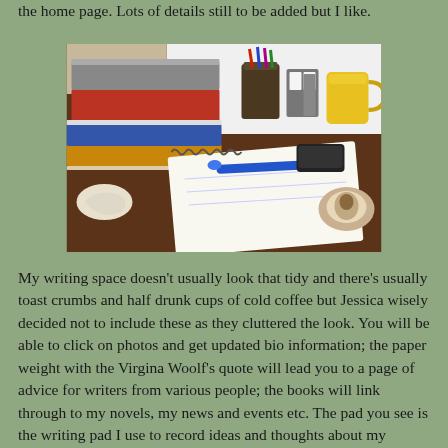the home page. Lots of details still to be added but I like.
[Figure (photo): A writer's desk with stacked colourful trays/books on the left, a pen holder with pens, a small folding picture frame, a yellow mug, a spiral-bound notepad with a blue pen resting on it, a mobile phone, a paperweight, and crumpled paper — all on a dark wooden desk surface.]
My writing space doesn't usually look that tidy and there's usually toast crumbs and half drunk cups of cold coffee but Jessica wisely decided not to include these as they cluttered the look. You will be able to click on photos and get updated bio information; the paper weight with the Virgina Woolf's quote will lead you to a page of advice for writers from various people; the books will link through to my novels, my news and events etc. The pad you see is the writing pad I use to record ideas and thoughts about my current novel.